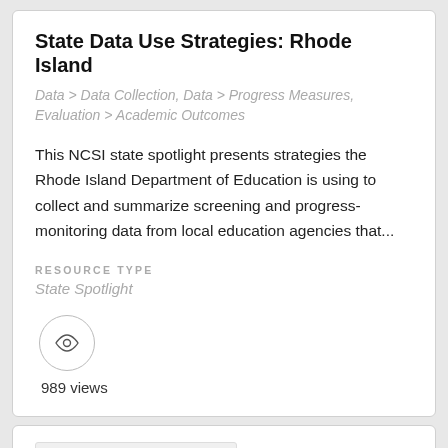State Data Use Strategies: Rhode Island
Data > Data Collection, Data > Progress Measures, Evaluation > Academic Outcomes
This NCSI state spotlight presents strategies the Rhode Island Department of Education is using to collect and summarize screening and progress-monitoring data from local education agencies that...
RESOURCE TYPE
State Spotlight
989 views
[Figure (other): Partially visible card at bottom of page with a light gray rectangle placeholder image]